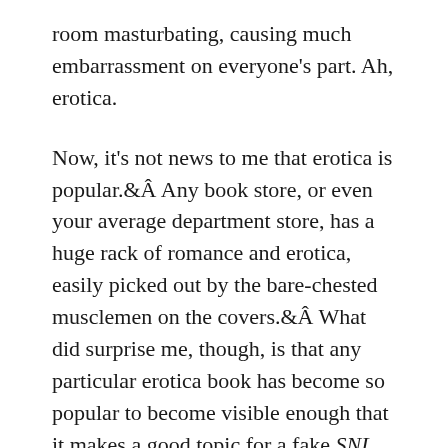room masturbating, causing much embarrassment on everyone's part. Ah, erotica.
Now, it's not news to me that erotica is popular. Any book store, or even your average department store, has a huge rack of romance and erotica, easily picked out by the bare-chested musclemen on the covers. What did surprise me, though, is that any particular erotica book has become so popular to become visible enough that it makes a good topic for a fake SNL commercial. Your average fan of erotica reads voraciously, and so as a result there are so many different books on the shelves, seemingly rotating by the week, that it's very unusual for a single one to become so popular. So I decided to read it to find out what all the hype is about. I have not read an erotica novel before. I have read plenty of novels and short stories with erotic scenes or erotic themes, but never one where the primary